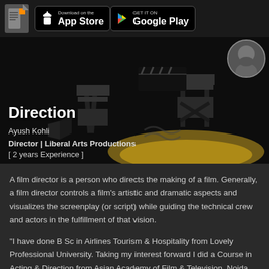Download on the App Store | GET IT ON Google Play
[Figure (photo): Hero image showing director's chairs on a stage with spotlight, dark background. Profile photo of Ayush Kohli in top right circle.]
Direction
Ayush Kohli
Director | Liberal Arts Productions
[ 2 years Experience ]
A film director is a person who directs the making of a film. Generally, a film director controls a film's artistic and dramatic aspects and visualizes the screenplay (or script) while guiding the technical crew and actors in the fulfillment of that vision.
"I have done B Sc in Airlines Tourism & Hospitality from Lovely Professional University. Taking my interest forward I did a Course in Acting & Direction from Asian Academy of Film & Television, Noida Film City. I also did Modeling for some time where I was a